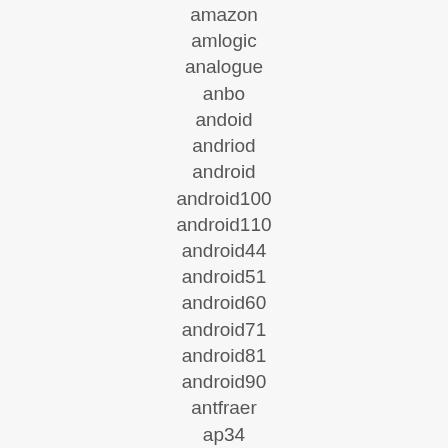amazon
amlogic
analogue
anbo
andoid
andriod
android
android100
android110
android44
android51
android60
android71
android81
android90
antfraer
ap34
apple
april
arab
arabic